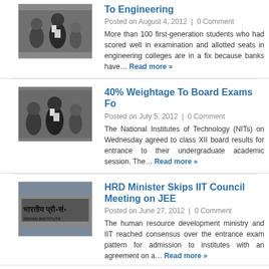[Figure (photo): Students outside exam venue, women in foreground holding papers]
To Engineering
Posted on August 4, 2012  |  0 Comment
More than 100 first-generation students who had scored well in examination and allotted seats in engineering colleges are in a fix because banks have… Read more »
[Figure (photo): Students outside exam venue, similar scene]
40% Weightage To Board Exams Fo
Posted on July 5, 2012  |  0 Comment
The National Institutes of Technology (NITs) on Wednesday agreed to class XII board results for entrance to their undergraduate academic session. The… Read more »
[Figure (photo): IIT signboard in Hindi and English]
HRD Minister Skips IIT Council Meeting on JEE
Posted on June 27, 2012  |  0 Comment
The human resource development ministry and IIT reached consensus over the entrance exam pattern for admission to institutes with an agreement on a… Read more »